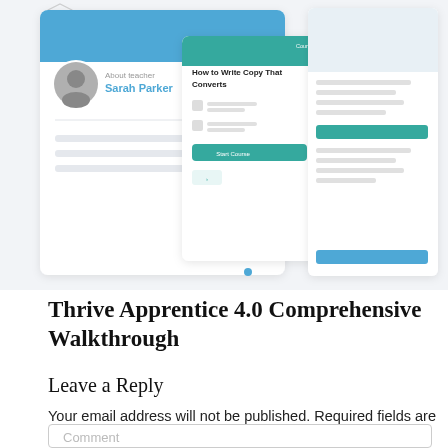[Figure (screenshot): Screenshot of Thrive Apprentice course interface showing teacher profile card with 'About teacher Sarah Parker', a course card titled 'How to Write Copy That Converts', and a second course sidebar card with teal and blue UI elements.]
Thrive Apprentice 4.0 Comprehensive Walkthrough
Leave a Reply
Your email address will not be published. Required fields are marked
Comment